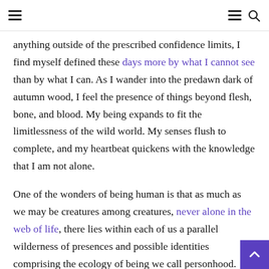[hamburger menu] [hamburger menu] [search icon]
anything outside of the prescribed confidence limits, I find myself defined these days more by what I cannot see than by what I can. As I wander into the predawn dark of autumn wood, I feel the presence of things beyond flesh, bone, and blood. My being expands to fit the limitlessness of the wild world. My senses flush to complete, and my heartbeat quickens with the knowledge that I am not alone.
One of the wonders of being human is that as much as we may be creatures among creatures, never alone in the web of life, there lies within each of us a parallel wilderness of presences and possible identities comprising the ecology of being we call personhood. Walt Whitman — a poet with a scientist's soul — knew this when he described himself as a "kosmos" containing many identities and inheritances…